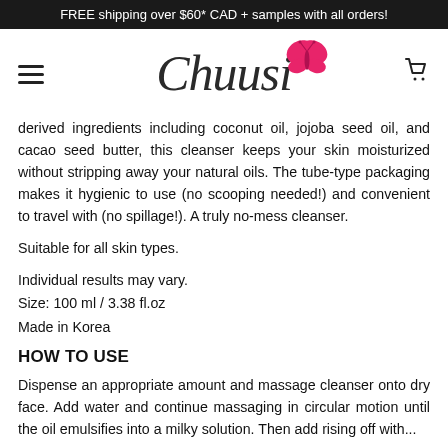FREE shipping over $60* CAD + samples with all orders!
[Figure (logo): Chuusi brand logo with cursive script and pink butterfly graphic, alongside hamburger menu icon and cart icon]
derived ingredients including coconut oil, jojoba seed oil, and cacao seed butter, this cleanser keeps your skin moisturized without stripping away your natural oils. The tube-type packaging makes it hygienic to use (no scooping needed!) and convenient to travel with (no spillage!). A truly no-mess cleanser.
Suitable for all skin types.
Individual results may vary.
Size: 100 ml / 3.38 fl.oz
Made in Korea
HOW TO USE
Dispense an appropriate amount and massage cleanser onto dry face. Add water and continue massaging in circular motion until the oil emulsifies into a milky solution. Then add rising off with...